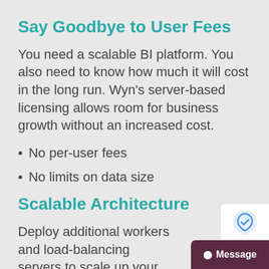Say Goodbye to User Fees
You need a scalable BI platform. You also need to know how much it will cost in the long run. Wyn's server-based licensing allows room for business growth without an increased cost.
No per-user fees
No limits on data size
Scalable Architecture
Deploy additional workers and load-balancing servers to scale up your business intelligence (as you scale up your user without increased costs.